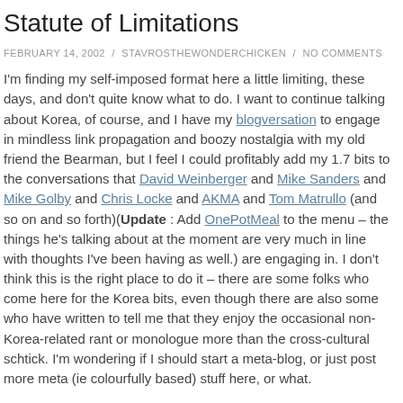Statute of Limitations
FEBRUARY 14, 2002  /  STAVROSTHEWONDERCHICKEN  /  NO COMMENTS
I'm finding my self-imposed format here a little limiting, these days, and don't quite know what to do. I want to continue talking about Korea, of course, and I have my blogversation to engage in mindless link propagation and boozy nostalgia with my old friend the Bearman, but I feel I could profitably add my 1.7 bits to the conversations that David Weinberger and Mike Sanders and Mike Golby and Chris Locke and AKMA and Tom Matrullo (and so on and so forth)(Update : Add OnePotMeal to the menu – the things he's talking about at the moment are very much in line with thoughts I've been having as well.) are engaging in. I don't think this is the right place to do it – there are some folks who come here for the Korea bits, even though there are also some who have written to tell me that they enjoy the occasional non-Korea-related rant or monologue more than the cross-cultural schtick. I'm wondering if I should start a meta-blog, or just post more meta (ie colourfully based) stuff here, or what.